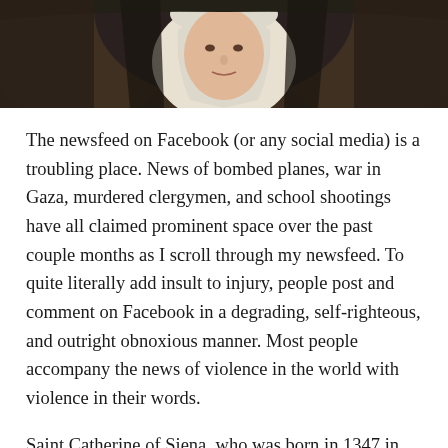[Figure (photo): Painting of a nun (Saint Catherine of Siena) wearing a white habit and dark veil, close-up portrait against a dark decorative background]
The newsfeed on Facebook (or any social media) is a troubling place. News of bombed planes, war in Gaza, murdered clergymen, and school shootings have all claimed prominent space over the past couple months as I scroll through my newsfeed. To quite literally add insult to injury, people post and comment on Facebook in a degrading, self-righteous, and outright obnoxious manner. Most people accompany the news of violence in the world with violence in their words.
Saint Catherine of Siena, who was born in 1347 in Siena, Italy, and died in 1380 in Rome, lived under surprisingly similar circumstances, minus the social media. The world was in chaos around her. Europe felt the sting of the Western losses in the centuries of Crusades, yet still rallied troops to fight